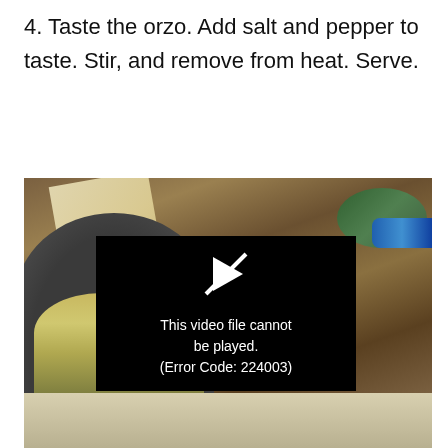4. Taste the orzo. Add salt and pepper to taste. Stir, and remove from heat. Serve.
[Figure (photo): Food photo showing a dark pan with orzo pasta dish containing spinach and other vegetables, with cheese block and spinach leaves visible in the background on a wooden surface. A video player overlay shows error message: 'This video file cannot be played. (Error Code: 224003)']